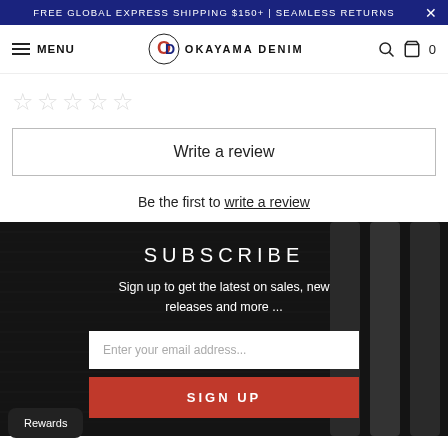FREE GLOBAL EXPRESS SHIPPING $150+ | SEAMLESS RETURNS
[Figure (screenshot): Okayama Denim navigation bar with hamburger menu, logo, search icon and cart]
[Figure (other): Five empty star rating icons]
Write a review
Be the first to write a review
SUBSCRIBE
Sign up to get the latest on sales, new releases and more ...
Enter your email address...
SIGN UP
Rewards